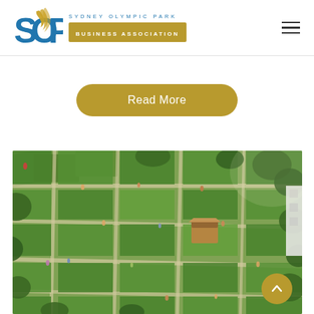Sydney Olympic Park Business Association logo with navigation
Read More
[Figure (photo): Aerial view of a green park with hedged garden beds arranged in a grid pattern, pathways, trees, and people walking. A small wooden pavilion structure is visible in the center-right area.]